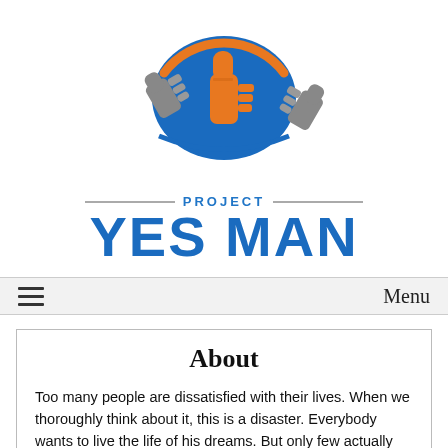[Figure (logo): Project Yes Man logo: three thumbs up hands in gray and orange arranged in a circle with a blue oval behind the center orange thumb, and an orange arc over the top]
PROJECT YES MAN
≡  Menu
About
Too many people are dissatisfied with their lives. When we thoroughly think about it, this is a disaster. Everybody wants to live the life of his dreams. But only few actually do. This is a very interesting fact. One that needs profound